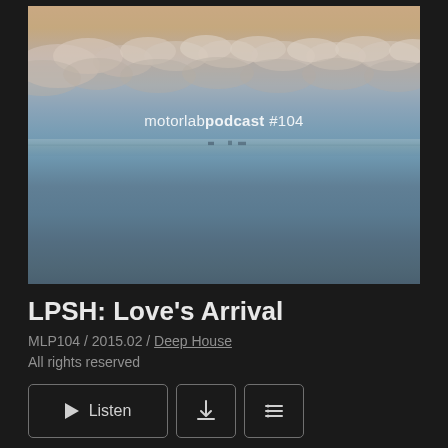[Figure (photo): Artwork image showing a calm seascape with a gentle horizon, pastel-toned sky with clouds, and a flat grey-blue sea. Overlay text reads 'motorlabpodcast #104'.]
LPSH: Love's Arrival
MLP104 / 2015.02 / Deep House
All rights reserved
Listen